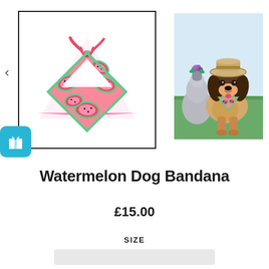[Figure (photo): Watermelon-patterned dog bandana on white background, tied at top, pink and green watermelon slice print with black seeds]
[Figure (photo): Basset hound dog wearing a straw hat and the watermelon bandana, sitting next to a stone garden statue outdoors]
Watermelon Dog Bandana
£15.00
SIZE